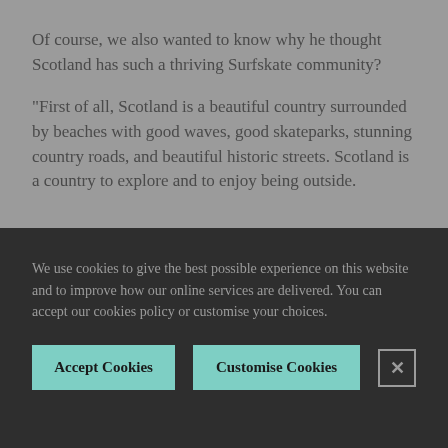Of course, we also wanted to know why he thought Scotland has such a thriving Surfskate community?
“First of all, Scotland is a beautiful country surrounded by beaches with good waves, good skateparks, stunning country roads, and beautiful historic streets. Scotland is a country to explore and to enjoy being outside.
We use cookies to give the best possible experience on this website and to improve how our online services are delivered. You can accept our cookies policy or customise your choices.
Accept Cookies
Customise Cookies